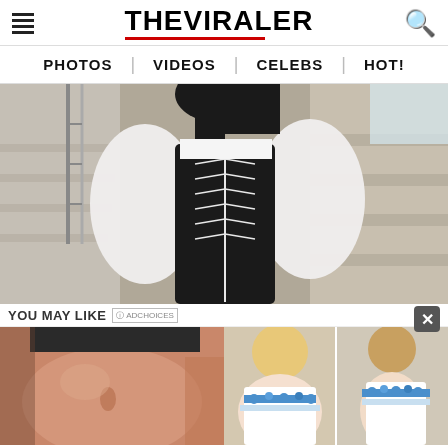THE VIRALER
PHOTOS | VIDEOS | CELEBS | HOT!
[Figure (photo): Woman in black corset with white puffy sleeves standing near marble stairs]
YOU MAY LIKE
[Figure (photo): Close-up of person's midsection showing belly]
A Doctor From Ashburn Shared How To Remove A Hanging Belly!
[Figure (photo): Before and after photos of woman in blue and white dress who lost weight]
Woman From Ashburn Lost 52 Lbs In 28 Days Using 1 Simple Trick